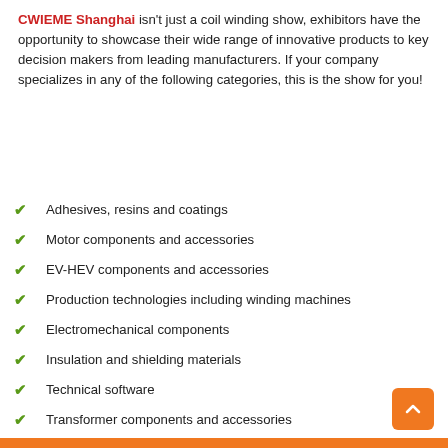CWIEME Shanghai isn't just a coil winding show, exhibitors have the opportunity to showcase their wide range of innovative products to key decision makers from leading manufacturers. If your company specializes in any of the following categories, this is the show for you!
Adhesives, resins and coatings
Motor components and accessories
EV-HEV components and accessories
Production technologies including winding machines
Electromechanical components
Insulation and shielding materials
Technical software
Transformer components and accessories
Electronic and electrical components
Intermediate, semi-finished products and materials
Power supplies
Quality, test and measurement